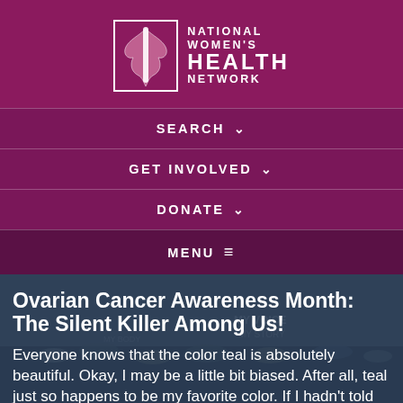[Figure (logo): National Women's Health Network logo with stylized tree/figure icon and organization name]
SEARCH
GET INVOLVED
DONATE
MENU
Ovarian Cancer Awareness Month: The Silent Killer Among Us!
Everyone knows that the color teal is absolutely beautiful. Okay, I may be a little bit biased. After all, teal just so happens to be my favorite color. If I hadn't told you, chances are that if you visited